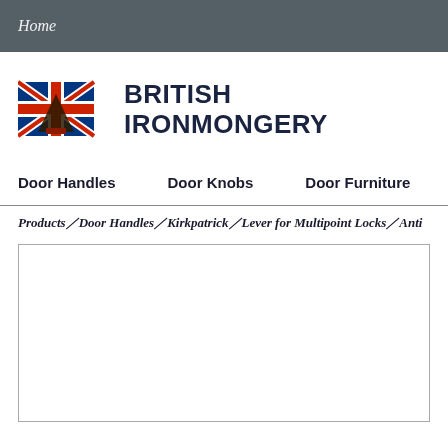Home
[Figure (logo): British Ironmongery logo with Union Jack stylized anvil/figure icon in red, white and blue, with bold text BRITISH IRONMONGERY]
Door Handles    Door Knobs    Door Furniture    W
Products／Door Handles／Kirkpatrick／Lever for Multipoint Locks／Anti